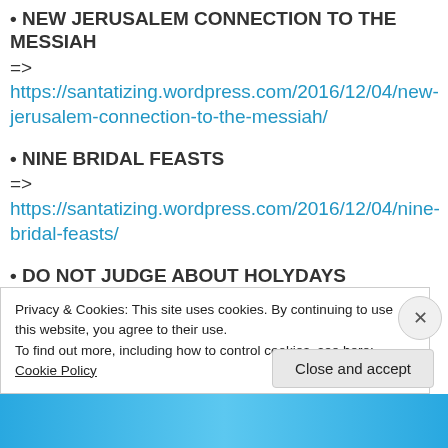• NEW JERUSALEM CONNECTION TO THE MESSIAH
=> https://santatizing.wordpress.com/2016/12/04/new-jerusalem-connection-to-the-messiah/
• NINE BRIDAL FEASTS
=> https://santatizing.wordpress.com/2016/12/04/nine-bridal-feasts/
• DO NOT JUDGE ABOUT HOLYDAYS
=> https://santatizing.wordpress.com/2016/12/04/do-not-judge-about-holydays/
Privacy & Cookies: This site uses cookies. By continuing to use this website, you agree to their use.
To find out more, including how to control cookies, see here: Cookie Policy
Close and accept